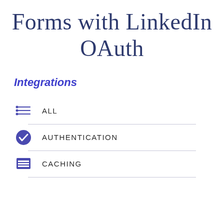Forms with LinkedIn OAuth
Integrations
ALL
AUTHENTICATION
CACHING